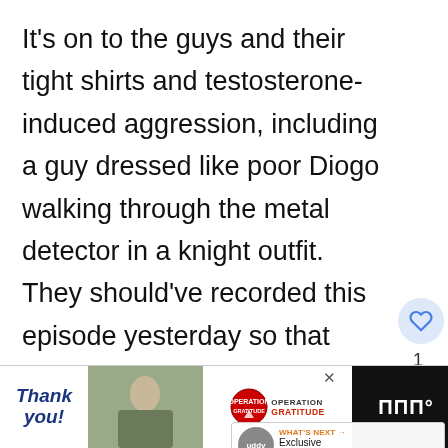It's on to the guys and their tight shirts and testosterone-induced aggression, including a guy dressed like poor Diogo walking through the metal detector in a knight outfit. They should've recorded this episode yesterday so that whoever Mikey ends up killing would have a chance to be reincarnated as the royal baby. Can you imagine the fun Chris Harris would have with that reality show?
Robert is the first one introduced, which
[Figure (screenshot): Advertisement banner at the bottom. Left portion: 'Thank you!' text with pencil and US flag imagery, military personnel photo, Operation Gratitude logo with eagle emblem. Right portion: dark background with logo/branding.]